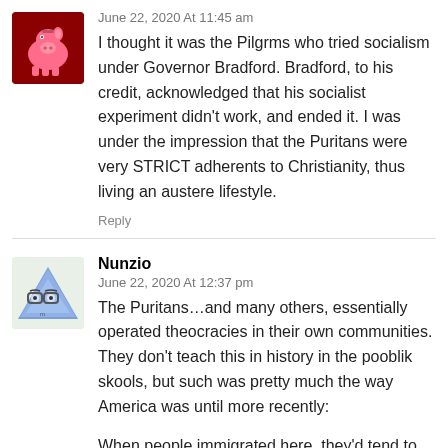[Figure (illustration): Pink piggy bank avatar icon on dark red/maroon background]
June 22, 2020 At 11:45 am
I thought it was the Pilgrms who tried socialism under Governor Bradford. Bradford, to his credit, acknowledged that his socialist experiment didn't work, and ended it. I was under the impression that the Puritans were very STRICT adherents to Christianity, thus living an austere lifestyle.
Reply
[Figure (illustration): Cartoon triangle character with glasses avatar]
Nunzio
June 22, 2020 At 12:37 pm
The Puritans…and many others, essentially operated theocracies in their own communities. They don't teach this in history in the pooblik skools, but such was pretty much the way America was until more recently:
When people immigrated here, they'd tend to